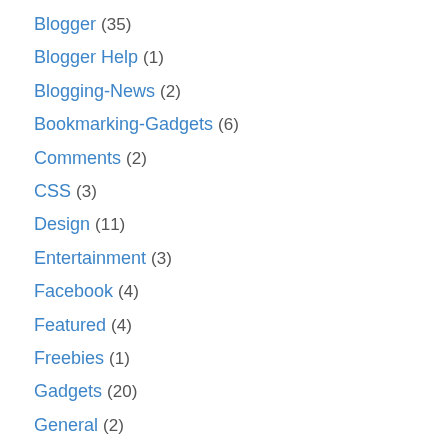Blogger (35)
Blogger Help (1)
Blogging-News (2)
Bookmarking-Gadgets (6)
Comments (2)
CSS (3)
Design (11)
Entertainment (3)
Facebook (4)
Featured (4)
Freebies (1)
Gadgets (20)
General (2)
Guest Post (3)